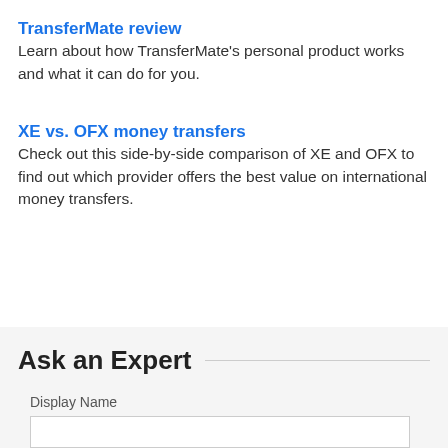TransferMate review
Learn about how TransferMate's personal product works and what it can do for you.
XE vs. OFX money transfers
Check out this side-by-side comparison of XE and OFX to find out which provider offers the best value on international money transfers.
Ask an Expert
Display Name